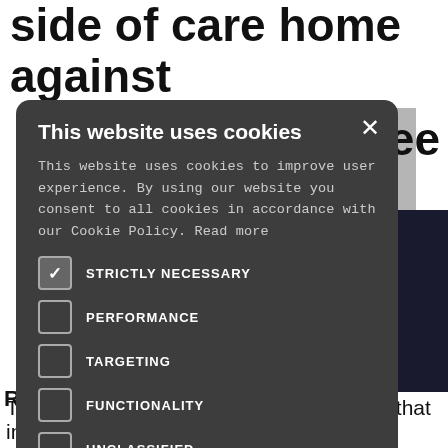side of care home against
[Figure (screenshot): Partial background article page showing a headline and a photo of a person in dark clothing, overlaid by a cookie consent modal dialog]
This website uses cookies
This website uses cookies to improve user experience. By using our website you consent to all cookies in accordance with our Cookie Policy. Read more
STRICTLY NECESSARY
PERFORMANCE
TARGETING
FUNCTIONALITY
UNCLASSIFIED
ACCEPT ALL   DECLINE ALL
SHOW DETAILS
The Employment Tribunal (ET) has found that in the